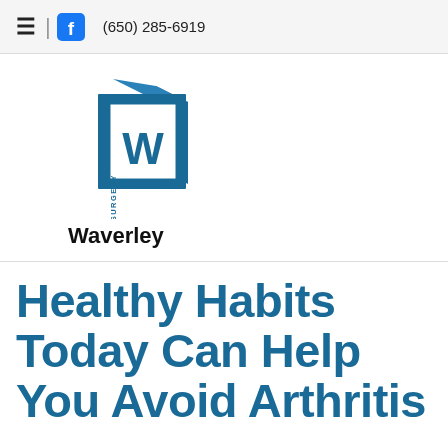≡ | f  (650) 285-6919
[Figure (logo): Waverley Surgery Center logo — a 3D cube shape in steel blue with a white square inset containing a large W and the text 'SURGERY CENTER' vertically on the left side]
Waverley
Healthy Habits Today Can Help You Avoid Arthritis